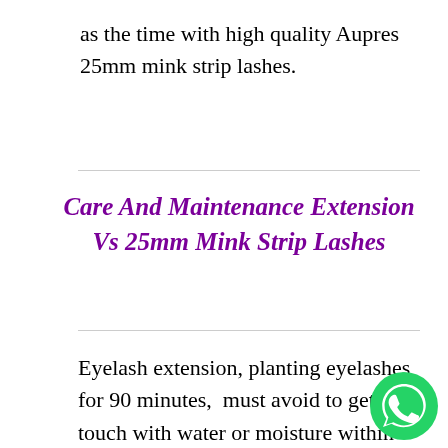as the time with high quality Aupres 25mm mink strip lashes.
Care And Maintenance Extension Vs 25mm Mink Strip Lashes
Eyelash extension, planting eyelashes for 90 minutes,  must avoid to get in touch with water or moisture within 24 hours after planting eyelashes, allowing the glue to dry out to keep it in use; after 2 weeks, as the eyelashes naturally update, the extended eyelashes also fall, forming The pores of the eyelashes need to